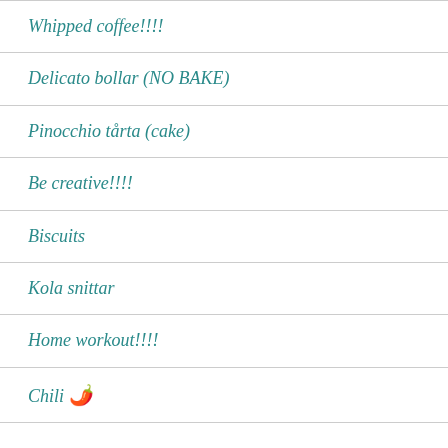Whipped coffee!!!!
Delicato bollar (NO BAKE)
Pinocchio tårta (cake)
Be creative!!!!
Biscuits
Kola snittar
Home workout!!!!
Chili 🌶️